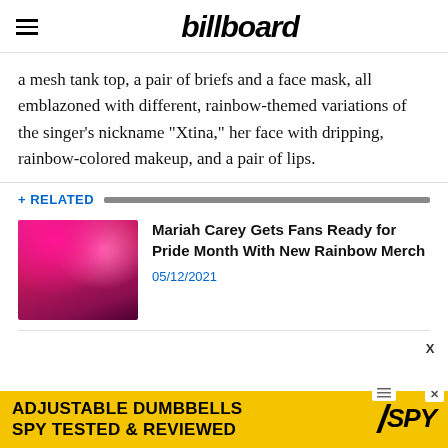billboard
a mesh tank top, a pair of briefs and a face mask, all emblazoned with different, rainbow-themed variations of the singer's nickname “Xtina,” her face with dripping, rainbow-colored makeup, and a pair of lips.
+ RELATED
[Figure (photo): Photo of Mariah Carey in a pink/magenta outfit with feathery background, promoting Pride Month rainbow merch]
Mariah Carey Gets Fans Ready for Pride Month With New Rainbow Merch
05/12/2021
[Figure (infographic): Advertisement banner: ADJUSTABLE DUMBBELLS SPY TESTED & REVIEWED with SPY logo on yellow background]